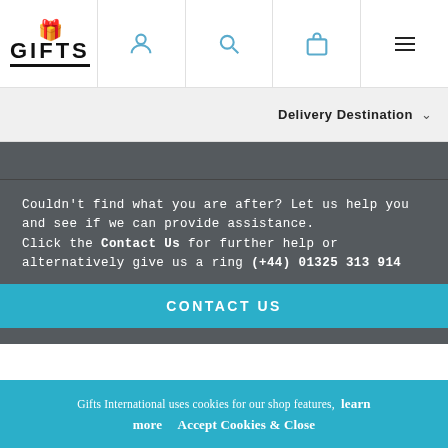[Figure (screenshot): Website header navigation bar with Gifts International logo, user account icon, search icon, shopping bag icon, and hamburger menu icon]
Delivery Destination ▾
Couldn't find what you are after? Let us help you and see if we can provide assistance. Click the Contact Us for further help or alternatively give us a ring (+44) 01325 313 914
CONTACT US
Gifts International uses cookies for our shop features,  learn more   Accept Cookies & Close